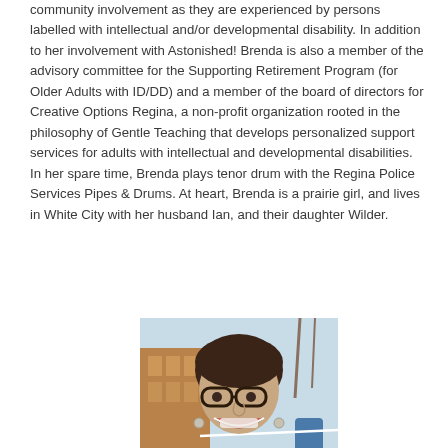community involvement as they are experienced by persons labelled with intellectual and/or developmental disability. In addition to her involvement with Astonished! Brenda is also a member of the advisory committee for the Supporting Retirement Program (for Older Adults with ID/DD) and a member of the board of directors for Creative Options Regina, a non-profit organization rooted in the philosophy of Gentle Teaching that develops personalized support services for adults with intellectual and developmental disabilities. In her spare time, Brenda plays tenor drum with the Regina Police Services Pipes & Drums. At heart, Brenda is a prairie girl, and lives in White City with her husband Ian, and their daughter Wilder.
[Figure (photo): A smiling woman with short dark hair and glasses, wearing a purple top, photographed outdoors in a snowy setting with a wooden structure in the background.]